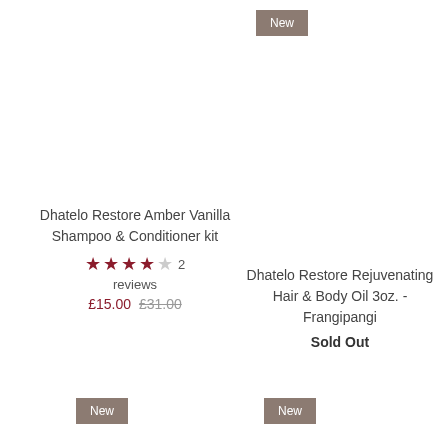[Figure (other): New badge label in brownish-grey square at top right area]
Dhatelo Restore Amber Vanilla Shampoo & Conditioner kit
★★★★☆ 2 reviews
£15.00 £31.00
Dhatelo Restore Rejuvenating Hair & Body Oil 3oz. - Frangipangi
Sold Out
[Figure (other): New badge label in brownish-grey square at bottom left]
[Figure (other): New badge label in brownish-grey square at bottom right]